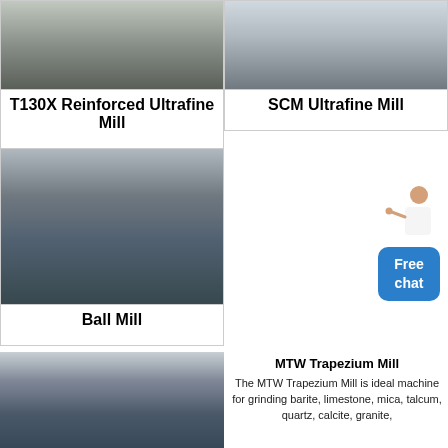[Figure (photo): T130X Reinforced Ultrafine Mill machinery in industrial warehouse setting]
T130X Reinforced Ultrafine Mill
[Figure (photo): SCM Ultrafine Mill machine with grinding media balls in industrial setting]
SCM Ultrafine Mill
[Figure (photo): Ball Mill horizontal cylindrical grinding machine in industrial hall]
Ball Mill
[Figure (illustration): Customer service representative figure with Free chat button]
[Figure (photo): MTW Trapezium Mill large industrial grinding machine with red accent rings]
MTW Trapezium Mill
The MTW Trapezium Mill is ideal machine for grinding barite, limestone, mica, talcum, quartz, calcite, granite,